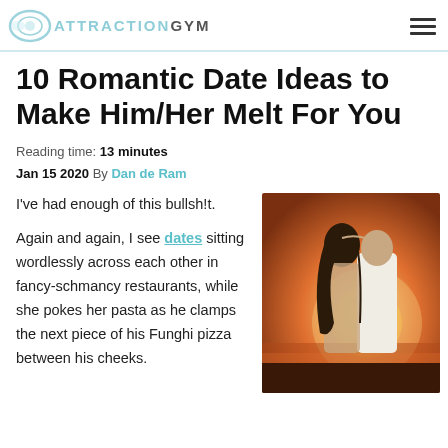ATTRACTIONGYM
10 Romantic Date Ideas to Make Him/Her Melt For You
Reading time: 13 minutes
Jan 15 2020 By Dan de Ram
I've had enough of this bullsh!t.

Again and again, I see dates sitting wordlessly across each other in fancy-schmancy restaurants, while she pokes her pasta as he clamps the next piece of his Funghi pizza between his cheeks.
[Figure (photo): A couple seen from behind in a warm sunset light, the man in a white shirt and the woman with long dark hair leaning close together near water.]